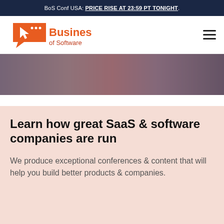BoS Conf USA: PRICE RISE AT 23:59 PT TONIGHT.
[Figure (logo): Business of Software logo — orange speech bubble with cursor icon and 'Business of Software' text in orange/red]
[Figure (photo): Blurred background photo of conference attendees]
Learn how great SaaS & software companies are run
We produce exceptional conferences & content that will help you build better products & companies.